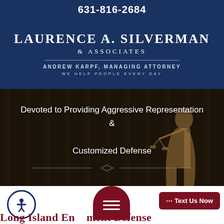631-816-2684
[Figure (logo): Laurence A. Silverman & Associates law firm logo with Andrew Karpf Managing Attorney and tagline We Help People Every Day on dark navy background]
[Figure (photo): Dark background hero image with Lady Justice statue and law books, with overlay text: Devoted to Providing Aggressive Representation & Customized Defense]
Devoted to Providing Aggressive Representation & Customized Defense
[Figure (screenshot): Bottom section showing accessibility icon, hamburger menu button, Text Us Now button, and partial text: Long Island En...ment Defense]
Long Island En...ment Defense